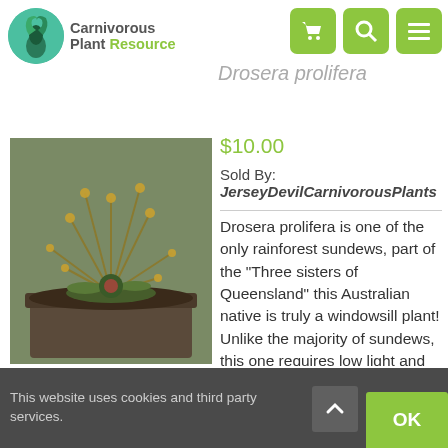Carnivorous Plant Resource
Drosera prolifera
[Figure (photo): Photo of Drosera prolifera plant in a pot, showing carnivorous sundew with long thin stalks and small trap leaves, photographed from above]
$10.00
Sold By: JerseyDevilCarnivorousPlants
Drosera prolifera is one of the only rainforest sundews, part of the "Three sisters of Queensland" this Australian native is truly a windowsill plant! Unlike the majority of sundews, this one requires low light and only thrives in very high humidity. A neat trick is to use a cut 2 liter clear plastic soda bottle as an improvised humidity dome! You will receive 1 medium
This website uses cookies and third party services.